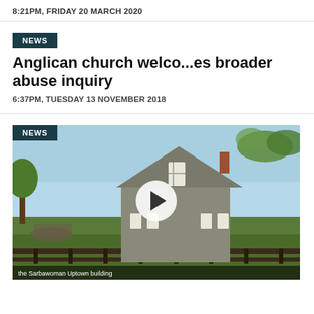8:21PM, FRIDAY 20 MARCH 2020
NEWS
Anglican church welco...es broader abuse inquiry
6:37PM, TUESDAY 13 NOVEMBER 2018
NEWS
[Figure (photo): Stone church building with pointed roof, trees in background, people gathered outside, video thumbnail with play button overlay. Caption bar reads: the Sarbawoman Uptown building]